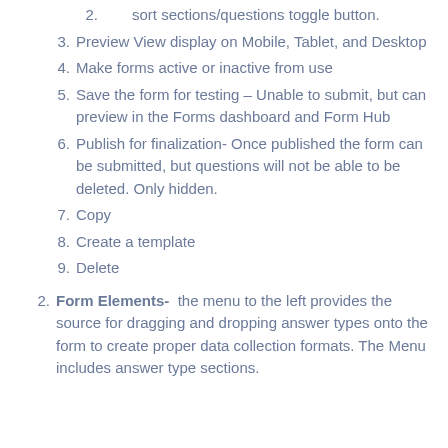sort sections/questions toggle button.
3. Preview View display on Mobile, Tablet, and Desktop
4. Make forms active or inactive from use
5. Save the form for testing – Unable to submit, but can preview in the Forms dashboard and Form Hub
6. Publish for finalization- Once published the form can be submitted, but questions will not be able to be deleted. Only hidden.
7. Copy
8. Create a template
9. Delete
2. Form Elements- the menu to the left provides the source for dragging and dropping answer types onto the form to create proper data collection formats. The Menu includes answer type sections.